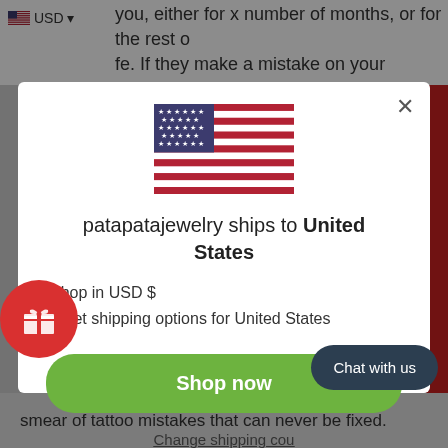you, either for x number of months, or for the rest of life. If they make a mistake on your original tat,
[Figure (illustration): US flag icon in modal dialog]
patapatajewelry ships to United States
Shop in USD $
Get shipping options for United States
Shop now
Change shipping cou
Chat with us
smear of tattoo mistakes that can never be fixed.